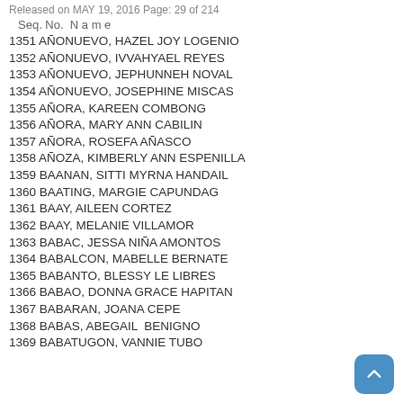Released on MAY 19, 2016 Page: 29 of 214
| Seq. No. | N a m e |
| --- | --- |
| 1351 | AÑONUEVO, HAZEL JOY LOGENIO |
| 1352 | AÑONUEVO, IVVAHYAEL REYES |
| 1353 | AÑONUEVO, JEPHUNNEH NOVAL |
| 1354 | AÑONUEVO, JOSEPHINE MISCAS |
| 1355 | AÑORA, KAREEN COMBONG |
| 1356 | AÑORA, MARY ANN CABILIN |
| 1357 | AÑORA, ROSEFA AÑASCO |
| 1358 | AÑOZA, KIMBERLY ANN ESPENILLA |
| 1359 | BAANAN, SITTI MYRNA HANDAIL |
| 1360 | BAATING, MARGIE CAPUNDAG |
| 1361 | BAAY, AILEEN CORTEZ |
| 1362 | BAAY, MELANIE VILLAMOR |
| 1363 | BABAC, JESSA NIÑA AMONTOS |
| 1364 | BABALCON, MABELLE BERNATE |
| 1365 | BABANTO, BLESSY LE LIBRES |
| 1366 | BABAO, DONNA GRACE HAPITAN |
| 1367 | BABARAN, JOANA CEPE |
| 1368 | BABAS, ABEGAIL  BENIGNO |
| 1369 | BABATUGON, VANNIE TUBO |